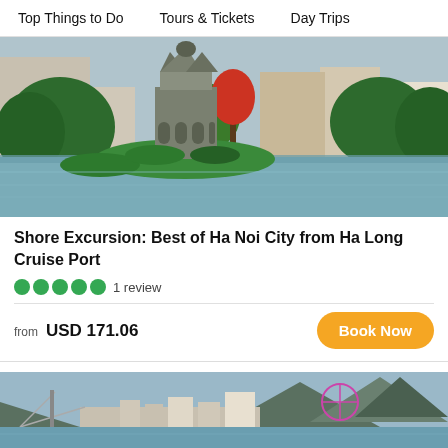Top Things to Do   Tours & Tickets   Day Trips
[Figure (photo): Photo of Turtle Tower (Thap Rua) on Hoan Kiem Lake in Hanoi, Vietnam, surrounded by green trees and water, with city buildings in the background.]
Shore Excursion: Best of Ha Noi City from Ha Long Cruise Port
1 review
from USD 171.06
Book Now
[Figure (photo): Aerial photo of Ha Long Bay city coastline with mountains, buildings, a Ferris wheel, and bridge visible.]